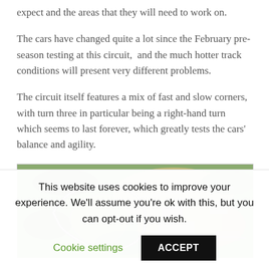expect and the areas that they will need to work on.
The cars have changed quite a lot since the February pre-season testing at this circuit,  and the much hotter track conditions will present very different problems.
The circuit itself features a mix of fast and slow corners, with turn three in particular being a right-hand turn which seems to last forever, which greatly tests the cars' balance and agility.
[Figure (photo): Aerial photograph of a motorsport racing circuit surrounded by trees and fields]
This website uses cookies to improve your experience. We'll assume you're ok with this, but you can opt-out if you wish.
Cookie settings | ACCEPT